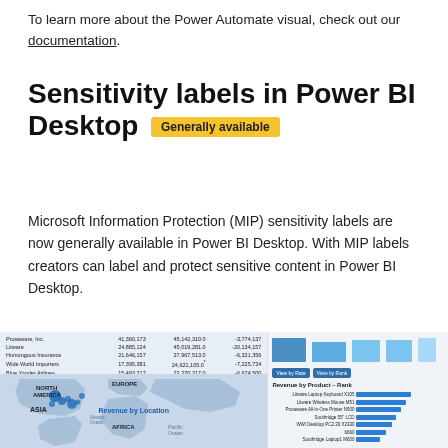To learn more about the Power Automate visual, check out our documentation.
Sensitivity labels in Power BI Desktop  Generally available
Microsoft Information Protection (MIP) sensitivity labels are now generally available in Power BI Desktop. With MIP labels creators can label and protect sensitive content in Power BI Desktop.
[Figure (screenshot): Screenshot of a Power BI Desktop report showing a table with revenue data by company and a map visualization labeled 'Revenue by Location' alongside a bar chart showing 'Revenue by Product - Rank' with buttons 'View by Rate' and 'View by Rank']